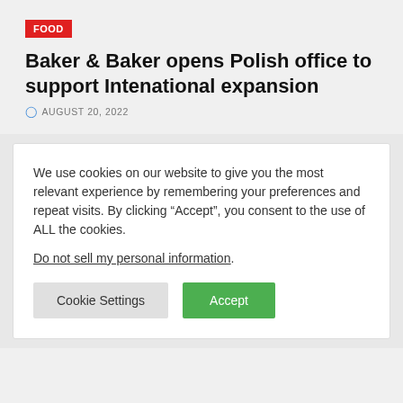FOOD
Baker & Baker opens Polish office to support Intenational expansion
AUGUST 20, 2022
We use cookies on our website to give you the most relevant experience by remembering your preferences and repeat visits. By clicking “Accept”, you consent to the use of ALL the cookies.
Do not sell my personal information.
Cookie Settings  Accept